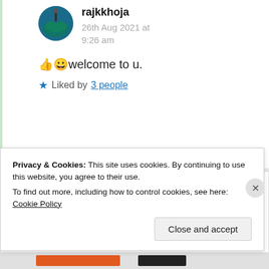rajkkhoja
26th Aug 2021 at 9:26 am
👍😀welcome to u.
★ Liked by 3 people
KK
25th Aug 2021 at 12:24 pm
Privacy & Cookies: This site uses cookies. By continuing to use this website, you agree to their use.
To find out more, including how to control cookies, see here: Cookie Policy
Close and accept